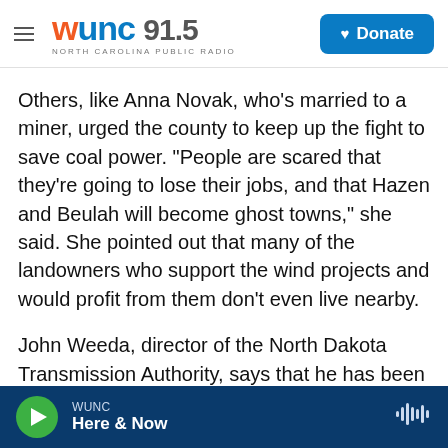WUNC 91.5 NORTH CAROLINA PUBLIC RADIO | Donate
Others, like Anna Novak, who's married to a miner, urged the county to keep up the fight to save coal power. "People are scared that they're going to lose their jobs, and that Hazen and Beulah will become ghost towns," she said. She pointed out that many of the landowners who support the wind projects and would profit from them don't even live nearby.
John Weeda, director of the North Dakota Transmission Authority, says that he has been talking to several companies that are interested in buying the coal plant. Weeda, who previously
WUNC | Here & Now